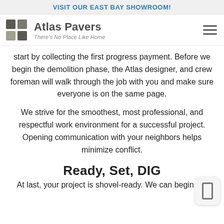VISIT OUR EAST BAY SHOWROOM!
[Figure (logo): Atlas Pavers logo with grid of square tiles and company name 'Atlas Pavers' and tagline 'There's No Place Like Home']
start by collecting the first progress payment. Before we begin the demolition phase, the Atlas designer, and crew foreman will walk through the job with you and make sure everyone is on the same page.
We strive for the smoothest, most professional, and respectful work environment for a successful project. Opening communication with your neighbors helps minimize conflict.
Ready, Set, DIG
At last, your project is shovel-ready. We can begin the